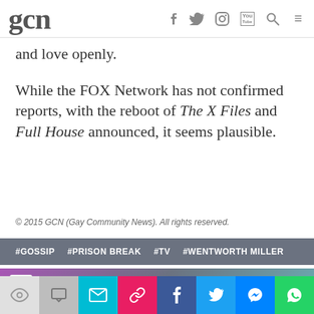gcn
and love openly.
While the FOX Network has not confirmed reports, with the reboot of The X Files and Full House announced, it seems plausible.
© 2015 GCN (Gay Community News). All rights reserved.
#GOSSIP  #PRISON BREAK  #TV  #WENTWORTH MILLER
0 comments. Please sign in to comment.